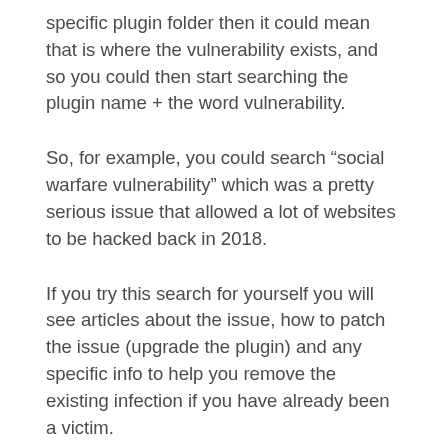specific plugin folder then it could mean that is where the vulnerability exists, and so you could then start searching the plugin name + the word vulnerability.
So, for example, you could search “social warfare vulnerability” which was a pretty serious issue that allowed a lot of websites to be hacked back in 2018.
If you try this search for yourself you will see articles about the issue, how to patch the issue (upgrade the plugin) and any specific info to help you remove the existing infection if you have already been a victim.